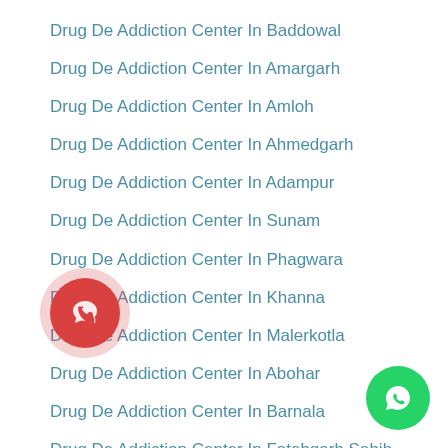Drug De Addiction Center In Baddowal
Drug De Addiction Center In Amargarh
Drug De Addiction Center In Amloh
Drug De Addiction Center In Ahmedgarh
Drug De Addiction Center In Adampur
Drug De Addiction Center In Sunam
Drug De Addiction Center In Phagwara
Drug De Addiction Center In Khanna
Drug De Addiction Center In Malerkotla
Drug De Addiction Center In Abohar
Drug De Addiction Center In Barnala
Drug De Addiction Center In Fatehgarh Sahib
Drug De Addiction Center In Shahid Bhagat Singh Nagar